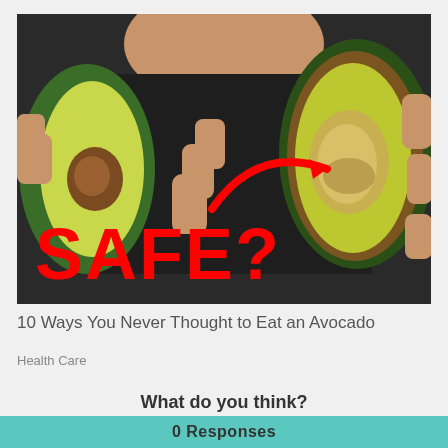[Figure (photo): Photo of a person holding two avocado halves — one showing the pit cavity. A red arrow points to the pit area. Bold red text reads 'SAFE?' overlaid on the lower left of the image.]
10 Ways You Never Thought to Eat an Avocado
Health Care
What do you think?
0 Responses